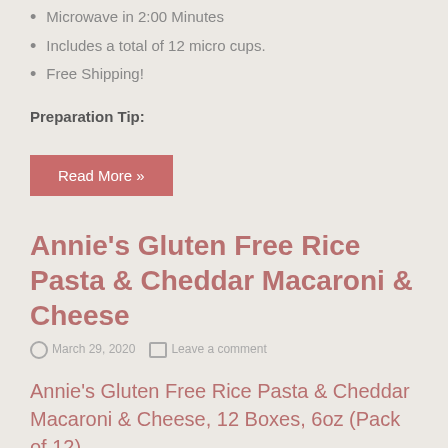Microwave in 2:00 Minutes
Includes a total of 12 micro cups.
Free Shipping!
Preparation Tip:
Read More »
Annie's Gluten Free Rice Pasta & Cheddar Macaroni & Cheese
March 29, 2020   Leave a comment
Annie's Gluten Free Rice Pasta & Cheddar Macaroni & Cheese, 12 Boxes, 6oz (Pack of 12)